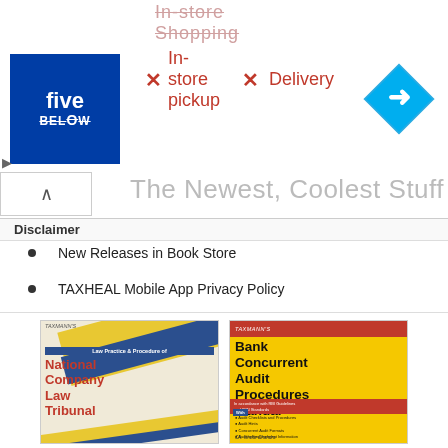[Figure (screenshot): Advertisement banner for Five Below store showing crossed-out 'In-store shopping', 'In-store pickup' and 'Delivery' options with Five Below logo and navigation arrow]
Disclaimer
New Releases in Book Store
TAXHEAL Mobile App Privacy Policy
[Figure (photo): Book cover: Taxmann's Law Practice & Procedure of National Company Law Tribunal]
[Figure (photo): Book cover: Taxmann's Bank Concurrent Audit Procedures Manual by CA. Ishwar Chandra, In accordance with RBI Guidelines and ICAI Standards]